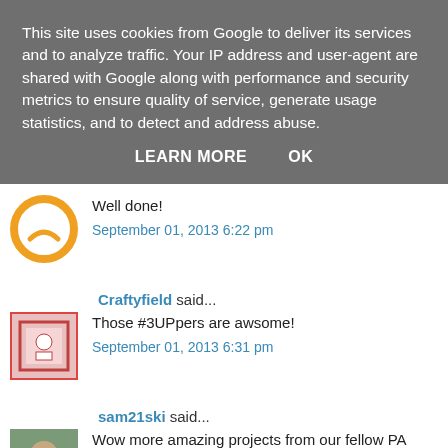This site uses cookies from Google to deliver its services and to analyze traffic. Your IP address and user-agent are shared with Google along with performance and security metrics to ensure quality of service, generate usage statistics, and to detect and address abuse.
LEARN MORE    OK
Well done!
September 01, 2013 6:22 pm
Craftyfield said...
Those #3UPpers are awsome!
September 01, 2013 6:31 pm
sam21ski said...
Wow more amazing projects from our fellow PA #3up twi
Great to see all the different ideas everyone has come u